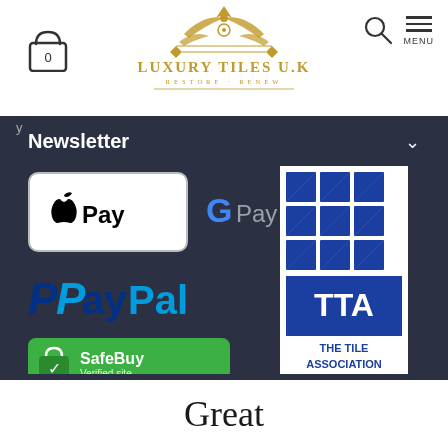[Figure (logo): Luxury Tiles U.K. ornate golden logo with crown and decorative elements]
[Figure (logo): Shopping cart icon with 0]
[Figure (logo): Search icon and hamburger menu with MENU label]
Newsletter
[Figure (logo): Apple Pay logo in white rounded rectangle]
[Figure (logo): Google Pay logo]
[Figure (logo): PayPal logo in blue]
[Figure (logo): SafeBuy Verified site green badge]
[Figure (logo): TTA The Tile Association logo with blue tile grid]
5 stars based on 1384 reviews. Read 1384 reviews
Great